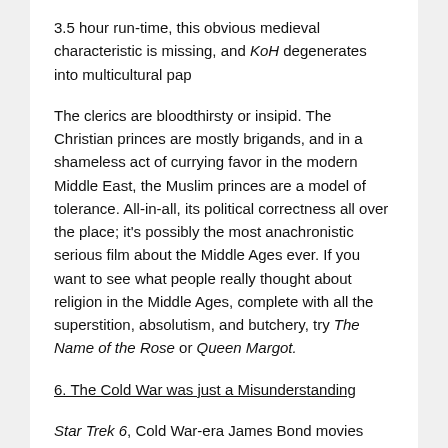3.5 hour run-time, this obvious medieval characteristic is missing, and KoH degenerates into multicultural pap
The clerics are bloodthirsty or insipid. The Christian princes are mostly brigands, and in a shameless act of currying favor in the modern Middle East, the Muslim princes are a model of tolerance. All-in-all, its political correctness all over the place; it's possibly the most anachronistic serious film about the Middle Ages ever. If you want to see what people really thought about religion in the Middle Ages, complete with all the superstition, absolutism, and butchery, try The Name of the Rose or Queen Margot.
6. The Cold War was just a Misunderstanding
Star Trek 6, Cold War-era James Bond movies
If there is any lesson to be drawn from Hollywood's standard treatment of tough topics, it's that it wants to offend or challenge no one, so as to insure that everyone